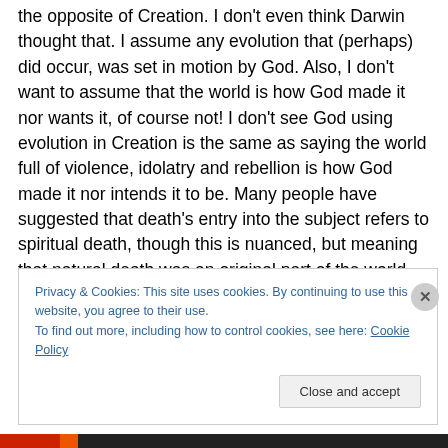the opposite of Creation. I don't even think Darwin thought that. I assume any evolution that (perhaps) did occur, was set in motion by God. Also, I don't want to assume that the world is how God made it nor wants it, of course not! I don't see God using evolution in Creation is the same as saying the world full of violence, idolatry and rebellion is how God made it nor intends it to be. Many people have suggested that death's entry into the subject refers to spiritual death, though this is nuanced, but meaning that natural death was an original part of the world. When snow geese eat grass, they kill it, because they don't
Privacy & Cookies: This site uses cookies. By continuing to use this website, you agree to their use.
To find out more, including how to control cookies, see here: Cookie Policy